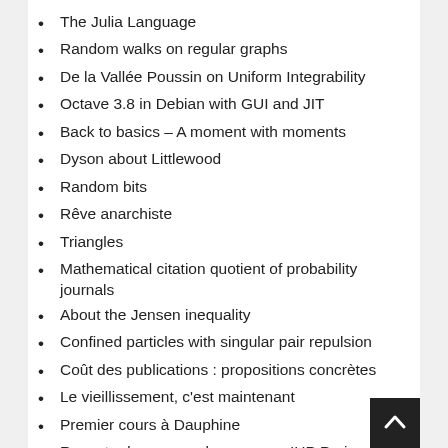The Julia Language
Random walks on regular graphs
De la Vallée Poussin on Uniform Integrability
Octave 3.8 in Debian with GUI and JIT
Back to basics – A moment with moments
Dyson about Littlewood
Random bits
Rêve anarchiste
Triangles
Mathematical citation quotient of probability journals
About the Jensen inequality
Confined particles with singular pair repulsion
Coût des publications : propositions concrètes
Le vieillissement, c'est maintenant
Premier cours à Dauphine
Recent advances on log-gases – IHP Paris – March 21, 2014
A cube, a starfish, a thin shell, and the central limit